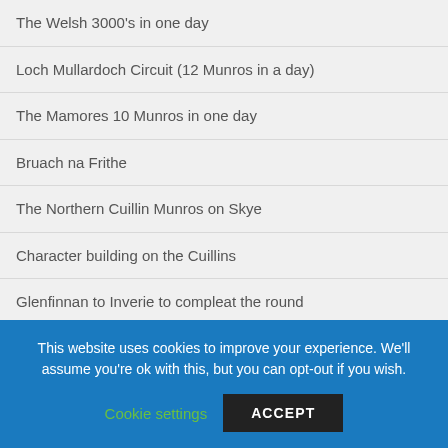The Welsh 3000's in one day
Loch Mullardoch Circuit (12 Munros in a day)
The Mamores 10 Munros in one day
Bruach na Frithe
The Northern Cuillin Munros on Skye
Character building on the Cuillins
Glenfinnan to Inverie to compleat the round
Cannich to Kintail an Affric traverse
Sunday stroll on Morvice
This website uses cookies to improve your experience. We'll assume you're ok with this, but you can opt-out if you wish.
Cookie settings
ACCEPT